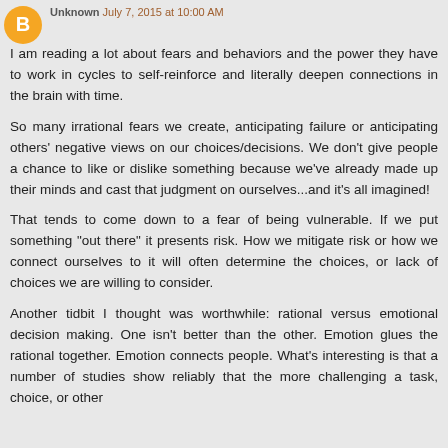Unknown July 7, 2015 at 10:00 AM
I am reading a lot about fears and behaviors and the power they have to work in cycles to self-reinforce and literally deepen connections in the brain with time.
So many irrational fears we create, anticipating failure or anticipating others' negative views on our choices/decisions. We don't give people a chance to like or dislike something because we've already made up their minds and cast that judgment on ourselves...and it's all imagined!
That tends to come down to a fear of being vulnerable. If we put something "out there" it presents risk. How we mitigate risk or how we connect ourselves to it will often determine the choices, or lack of choices we are willing to consider.
Another tidbit I thought was worthwhile: rational versus emotional decision making. One isn't better than the other. Emotion glues the rational together. Emotion connects people. What's interesting is that a number of studies show reliably that the more challenging a task, choice, or other